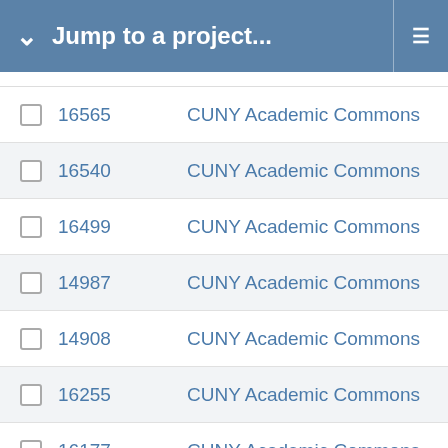Jump to a project...
16565   CUNY Academic Commons
16540   CUNY Academic Commons
16499   CUNY Academic Commons
14987   CUNY Academic Commons
14908   CUNY Academic Commons
16255   CUNY Academic Commons
16177   CUNY Academic Commons